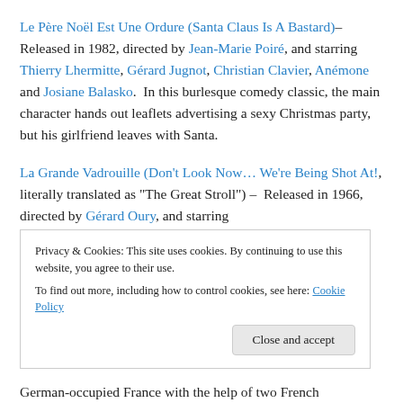Le Père Noël Est Une Ordure (Santa Claus Is A Bastard)– Released in 1982, directed by Jean-Marie Poiré, and starring Thierry Lhermitte, Gérard Jugnot, Christian Clavier, Anémone and Josiane Balasko.  In this burlesque comedy classic, the main character hands out leaflets advertising a sexy Christmas party, but his girlfriend leaves with Santa.
La Grande Vadrouille (Don't Look Now… We're Being Shot At!, literally translated as "The Great Stroll") – Released in 1966, directed by Gérard Oury, and starring
Privacy & Cookies: This site uses cookies. By continuing to use this website, you agree to their use.
To find out more, including how to control cookies, see here: Cookie Policy
German-occupied France with the help of two French